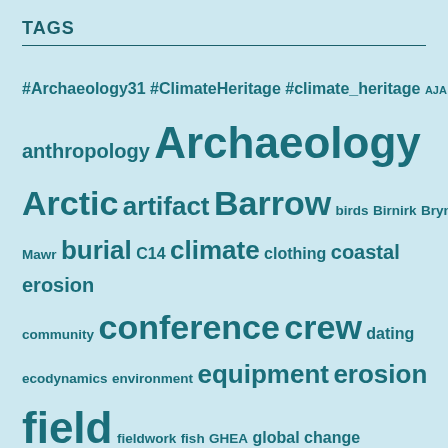TAGS
#Archaeology31 #ClimateHeritage #climate_heritage AJA Alaska animals anthropology Archaeology Arctic artifact Barrow birds Birnirk Bryn Mawr burial C14 climate clothing coastal erosion community conference crew dating ecodynamics environment equipment erosion field fieldwork fish GHEA global change effects GPR heritage holiday Iceland Ipiutak lab Logistics media migration ning Nuvuk ocean outreach Paris permafrost permit physical anthropology polar bears preservation public public archaeology